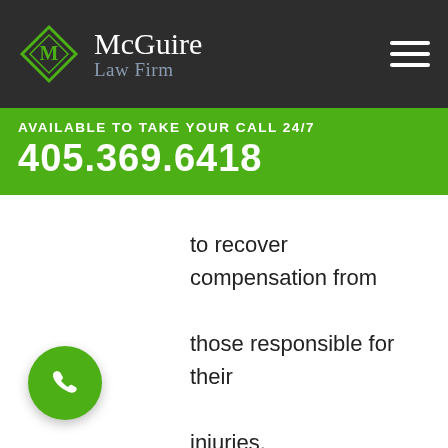[Figure (logo): McGuire Law Firm logo: diamond shape with letter M in green, firm name in white serif text on dark background with hamburger menu icon]
AVAILABLE TO TAKE YOUR CALL 24/7
405.369.6418
to recover compensation from those responsible for their injuries.
[Figure (other): Green circular phone/call button with white handset icon]